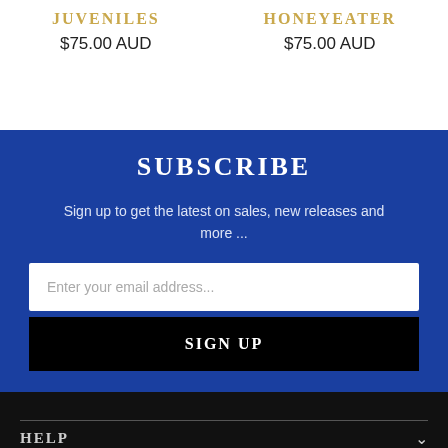JUVENILES
$75.00 AUD
HONEYEATER
$75.00 AUD
SUBSCRIBE
Sign up to get the latest on sales, new releases and more ...
Enter your email address...
SIGN UP
HELP